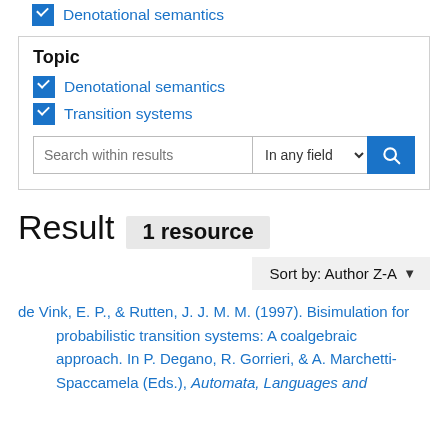☑ Denotational semantics (top, partial)
Topic
☑ Denotational semantics
☑ Transition systems
Search within results | In any field [search button]
Result  1 resource
Sort by: Author Z-A
de Vink, E. P., & Rutten, J. J. M. M. (1997). Bisimulation for probabilistic transition systems: A coalgebraic approach. In P. Degano, R. Gorrieri, & A. Marchetti-Spaccamela (Eds.), Automata, Languages and